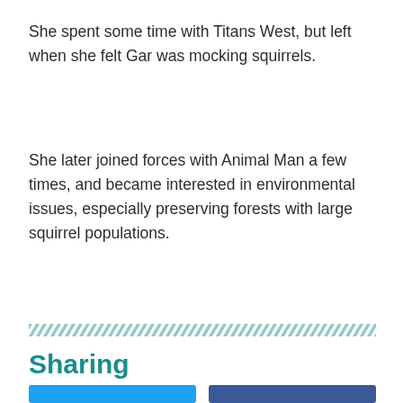She spent some time with Titans West, but left when she felt Gar was mocking squirrels.
She later joined forces with Animal Man a few times, and became interested in environmental issues, especially preserving forests with large squirrel populations.
[Figure (other): Decorative diagonal stripe divider line in teal/green color]
Sharing
[Figure (other): Social sharing buttons: Twitter (blue) and Facebook (dark blue)]